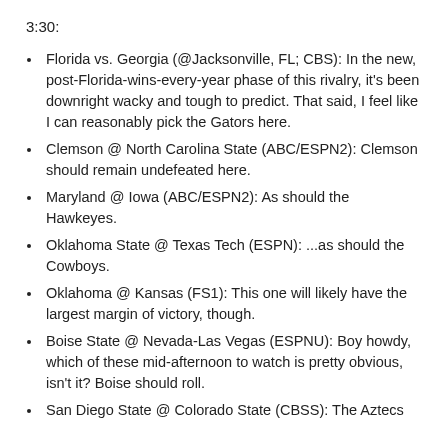3:30:
Florida vs. Georgia (@Jacksonville, FL; CBS): In the new, post-Florida-wins-every-year phase of this rivalry, it's been downright wacky and tough to predict. That said, I feel like I can reasonably pick the Gators here.
Clemson @ North Carolina State (ABC/ESPN2): Clemson should remain undefeated here.
Maryland @ Iowa (ABC/ESPN2): As should the Hawkeyes.
Oklahoma State @ Texas Tech (ESPN): ...as should the Cowboys.
Oklahoma @ Kansas (FS1): This one will likely have the largest margin of victory, though.
Boise State @ Nevada-Las Vegas (ESPNU): Boy howdy, which of these mid-afternoon to watch is pretty obvious, isn't it? Boise should roll.
San Diego State @ Colorado State (CBSS): The Aztecs